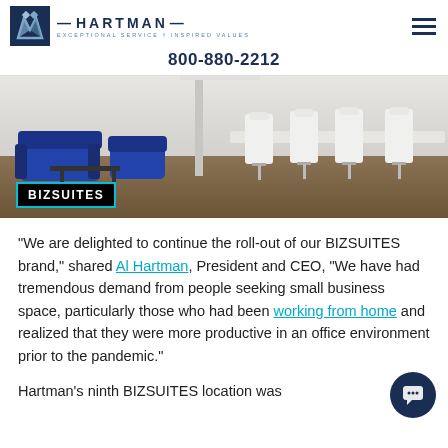HARTMAN — Exceptional Service † Inspired Values | 800-880-2212
[Figure (photo): Interior photo of a modern office/coworking space with blue sofas on the left and white bar chairs along a long table on the right. BIZSUITES logo overlay in bottom-left corner.]
“We are delighted to continue the roll-out of our BIZSUITES brand,” shared Al Hartman, President and CEO, “We have had tremendous demand from people seeking small business space, particularly those who had been working from home and realized that they were more productive in an office environment prior to the pandemic.”
Hartman’s ninth BIZSUITES location was